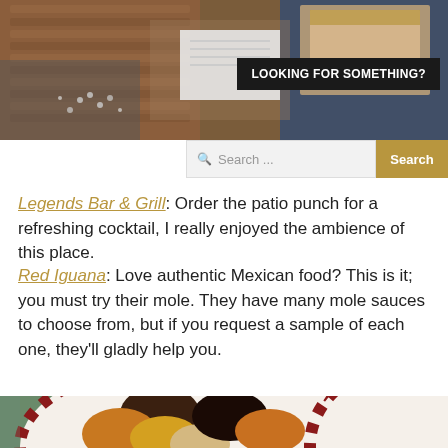[Figure (photo): Top portion of a food/travel blog page showing a photo of table setting with wooden boards, blue frames, and decorative items in warm tones.]
LOOKING FOR SOMETHING?
Search ...
Search
Legends Bar & Grill: Order the patio punch for a refreshing cocktail, I really enjoyed the ambience of this place.
Red Iguana: Love authentic Mexican food? This is it; you must try their mole. They have many mole sauces to choose from, but if you request a sample of each one, they'll gladly help you.
[Figure (photo): Bottom photo showing a white plate with red checkered border containing multiple mole sauce samples in different shades of brown, orange, and tan arranged in a circular pattern.]